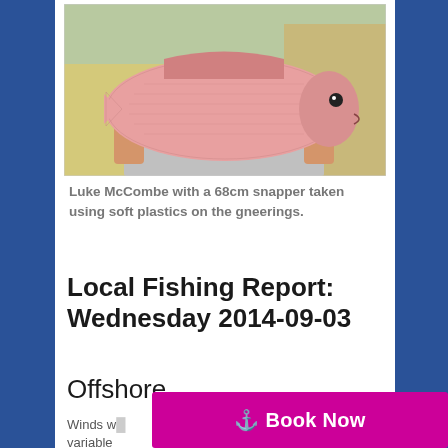[Figure (photo): Person holding a large pink/red snapper fish outdoors]
Luke McCombe with a 68cm snapper taken using soft plastics on the gneerings.
Local Fishing Report: Wednesday 2014-09-03
Offshore
Winds w... variable... northeasterly 10 to 15 knot seabreezes. Seas are 1.5 to